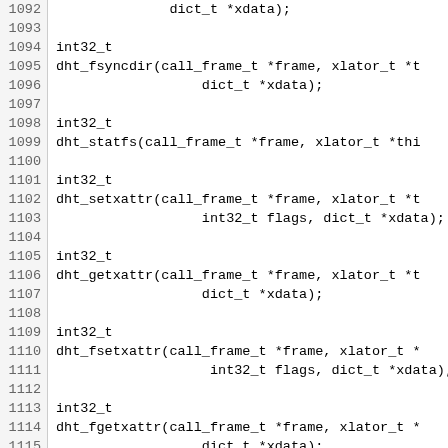Code listing showing C function declarations for DHT operations, lines 1092-1122